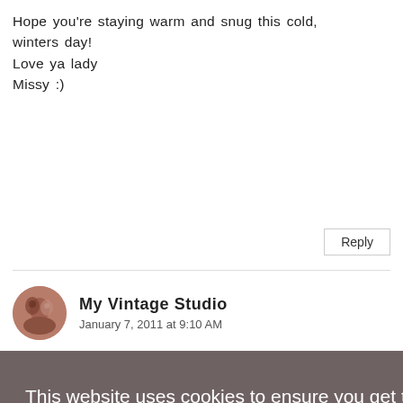Hope you're staying warm and snug this cold, winters day!
Love ya lady
Missy :)
Reply
My Vintage Studio
January 7, 2011 at 9:10 AM
This website uses cookies to ensure you get the best experience on our website.
Learn more
Got it!